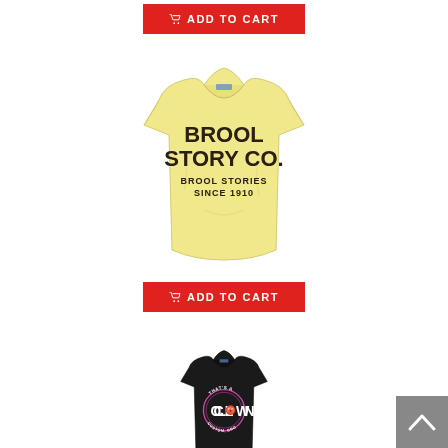[Figure (photo): Red 'ADD TO CART' button at the top of the page]
[Figure (photo): Yellow t-shirt with 'BROOL STORY CO. BROOL STORIES SINCE 1910' printed on front]
[Figure (photo): Red 'ADD TO CART' button below the yellow t-shirt]
[Figure (photo): Black t-shirt with 'THAT'S A CLOWN' graphic printed on front, partially visible at bottom]
[Figure (photo): Gray back-to-top arrow button in bottom right corner]